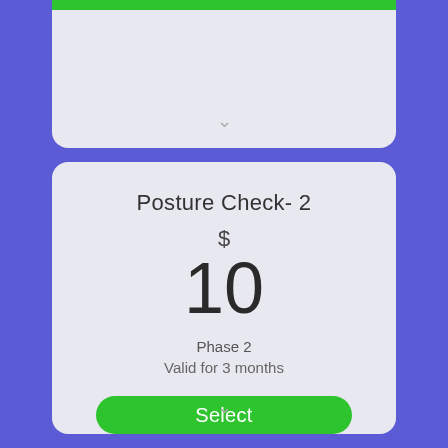[Figure (screenshot): Partially visible top card with green bar at top and chevron down icon]
Posture Check- 2
$
10
Phase 2
Valid for 3 months
Select